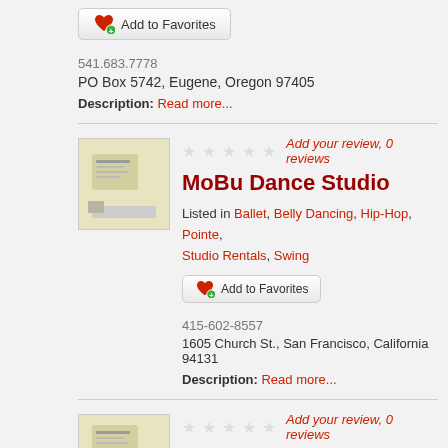Add to Favorites
541.683.7778
PO Box 5742, Eugene, Oregon 97405
Description: Read more...
[Figure (illustration): Placeholder thumbnail image for MoBu Dance Studio listing]
Add your review, 0 reviews
MoBu Dance Studio
Listed in Ballet, Belly Dancing, Hip-Hop, Pointe, Studio Rentals, Swing
Add to Favorites
415-602-8557
1605 Church St., San Francisco, California 94131
Description: Read more...
[Figure (illustration): Placeholder thumbnail image for Mixed Motion Art Dance listing]
Add your review, 0 reviews
Mixed Motion Art Dance